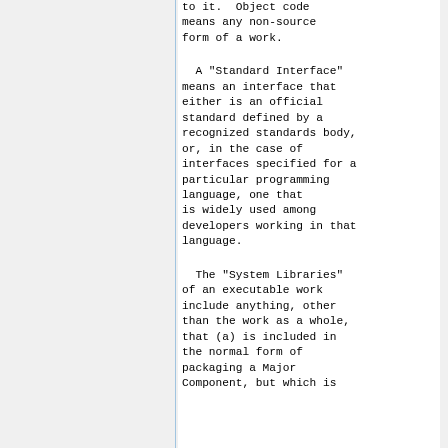to it.  Object code means any non-source form of a work.
A "Standard Interface" means an interface that either is an official standard defined by a recognized standards body, or, in the case of interfaces specified for a particular programming language, one that is widely used among developers working in that language.
The "System Libraries" of an executable work include anything, other than the work as a whole, that (a) is included in the normal form of packaging a Major Component, but which is